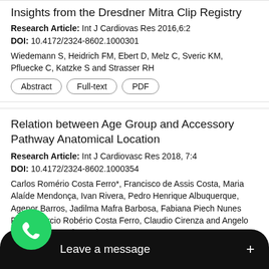Insights from the Dresdner Mitra Clip Registry
Research Article: Int J Cardiovas Res 2016,6:2
DOI: 10.4172/2324-8602.1000301
Wiedemann S, Heidrich FM, Ebert D, Melz C, Sveric KM, Pfluecke C, Katzke S and Strasser RH
Abstract
Full-text
PDF
Relation between Age Group and Accessory Pathway Anatomical Location
Research Article: Int J Cardiovasc Res 2018, 7:4
DOI: 10.4172/2324-8602.1000354
Carlos Romério Costa Ferro*, Francisco de Assis Costa, Maria Alaíde Mendonça, Ivan Rivera, Pedro Henrique Albuquerque, Agenor Barros, Jadilma Mafra Barbosa, Fabiana Piech Nunes Ferro, Marcio Robério Costa Ferro, Claudio Cirenza and Angelo Amato Vicenzo de Paola
Abstract
Full-text
PDF
vocardium and after Experimental Study
[Figure (screenshot): WhatsApp 'Leave a message' chat widget overlay at bottom of screen with green WhatsApp icon and dark message bar with plus button]